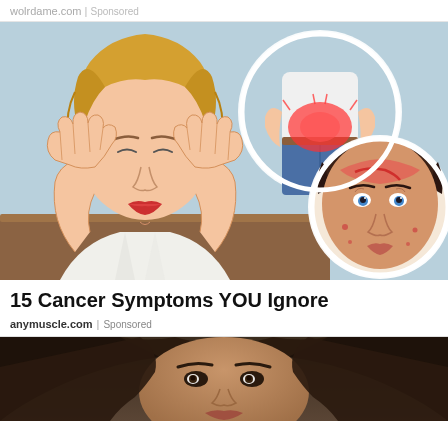wolrdame.com | Sponsored
[Figure (illustration): Medical illustration showing a woman with hands on head (headache), a person with back pain highlighted in red circle, and a woman with facial redness/acne in a circle - depicting cancer symptoms]
15 Cancer Symptoms YOU Ignore
anymuscle.com | Sponsored
[Figure (photo): Photo of a woman's face looking upward, cropped at forehead and shoulders, dark hair, against a dark background]